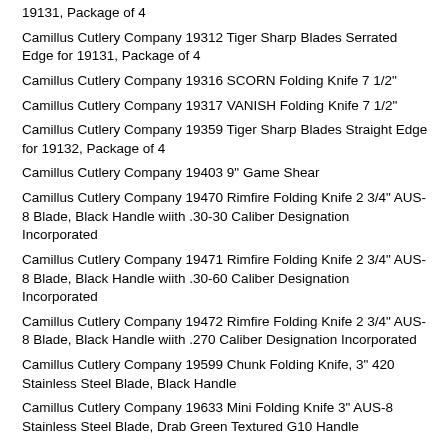19131, Package of 4
Camillus Cutlery Company 19312 Tiger Sharp Blades Serrated Edge for 19131, Package of 4
Camillus Cutlery Company 19316 SCORN Folding Knife 7 1/2"
Camillus Cutlery Company 19317 VANISH Folding Knife 7 1/2"
Camillus Cutlery Company 19359 Tiger Sharp Blades Straight Edge for 19132, Package of 4
Camillus Cutlery Company 19403 9" Game Shear
Camillus Cutlery Company 19470 Rimfire Folding Knife 2 3/4" AUS-8 Blade, Black Handle wiith .30-30 Caliber Designation Incorporated
Camillus Cutlery Company 19471 Rimfire Folding Knife 2 3/4" AUS-8 Blade, Black Handle wiith .30-60 Caliber Designation Incorporated
Camillus Cutlery Company 19472 Rimfire Folding Knife 2 3/4" AUS-8 Blade, Black Handle wiith .270 Caliber Designation Incorporated
Camillus Cutlery Company 19599 Chunk Folding Knife, 3" 420 Stainless Steel Blade, Black Handle
Camillus Cutlery Company 19633 Mini Folding Knife 3" AUS-8 Stainless Steel Blade, Drab Green Textured G10 Handle